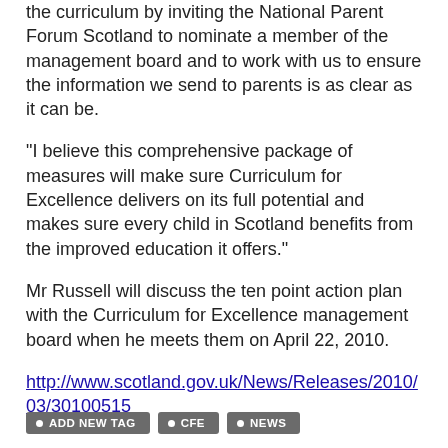the curriculum by inviting the National Parent Forum Scotland to nominate a member of the management board and to work with us to ensure the information we send to parents is as clear as it can be.
“I believe this comprehensive package of measures will make sure Curriculum for Excellence delivers on its full potential and makes sure every child in Scotland benefits from the improved education it offers.”
Mr Russell will discuss the ten point action plan with the Curriculum for Excellence management board when he meets them on April 22, 2010.
http://www.scotland.gov.uk/News/Releases/2010/03/30100515
ADD NEW TAG
CFE
NEWS